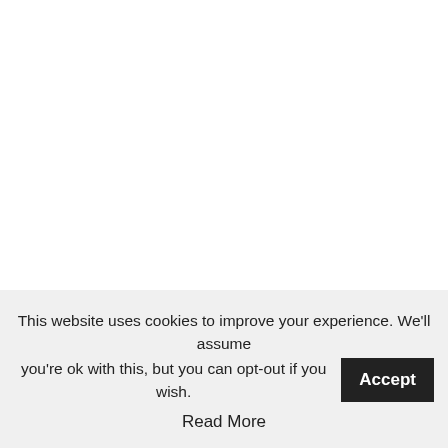As many as 50,000 Liverpool fans have traveled to Paris
This website uses cookies to improve your experience. We'll assume you're ok with this, but you can opt-out if you wish. Accept Read More